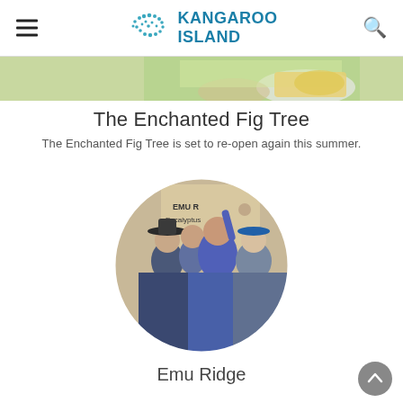Kangaroo Island
[Figure (photo): Partial view of a food/dining scene at top of page, cropped]
The Enchanted Fig Tree
The Enchanted Fig Tree is set to re-open again this summer.
[Figure (photo): Circular cropped photo of people at Emu Ridge Eucalyptus Distillery, smiling and holding up a bottle]
Emu Ridge